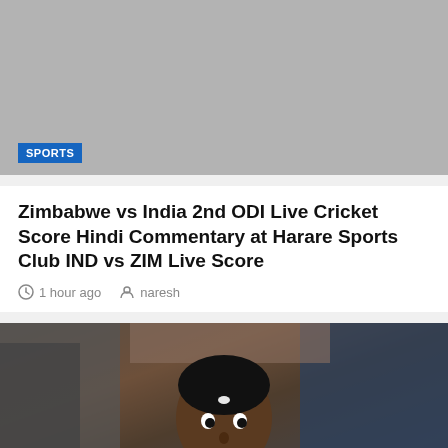[Figure (photo): Gray placeholder image with SPORTS badge overlay at bottom left]
Zimbabwe vs India 2nd ODI Live Cricket Score Hindi Commentary at Harare Sports Club IND vs ZIM Live Score
1 hour ago  naresh
[Figure (photo): Photo of a young Indian chess player in a blue suit, concentrating, seated at a chess board]